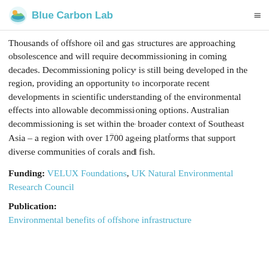Blue Carbon Lab
Thousands of offshore oil and gas structures are approaching obsolescence and will require decommissioning in coming decades. Decommissioning policy is still being developed in the region, providing an opportunity to incorporate recent developments in scientific understanding of the environmental effects into allowable decommissioning options. Australian decommissioning is set within the broader context of Southeast Asia – a region with over 1700 ageing platforms that support diverse communities of corals and fish.
Funding: VELUX Foundations, UK Natural Environmental Research Council
Publication: Environmental benefits of offshore infrastructure